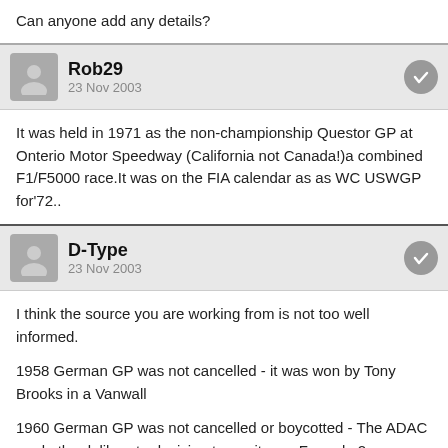Can anyone add any details?
Rob29
23 Nov 2003
It was held in 1971 as the non-championship Questor GP at Onterio Motor Speedway (California not Canada!)a combined F1/F5000 race.It was on the FIA calendar as as WC USWGP for'72..
D-Type
23 Nov 2003
I think the source you are working from is not too well informed.

1958 German GP was not cancelled - it was won by Tony Brooks in a Vanwall

1960 German GP was not cancelled or boycotted - The ADAC made the deliberate decision to run it as a Formula 2 race. The most likely reason for the decision was the lack of interest in a Nurburgring race without German competitors. (This was the main reason the 1959 race was run at Avus, although politics came into